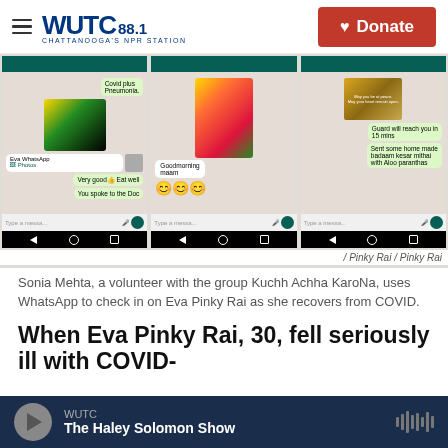WUTC 88.1 Chattanooga's NPR Station | Donate
[Figure (screenshot): Three WhatsApp conversation screenshots showing messages from Sonia Mehta checking in on Eva Pinky Rai. First screen shows food image with messages 'Covid plus Pneumonia', 'Eva WhatsApp Photo', 'Very good Eat well', 'You spoke to the Doc'. Second screen shows food image with 'Goodmorning maam' and emoji. Third screen shows a spiritual image with messages 'Guard will reach you in 15 mins', 'Sent some home made badaam kesar mithai with Aloo paranthas'.]
/ Pinky Rai / Pinky Rai
Sonia Mehta, a volunteer with the group Kuchh Achha KaroNa, uses WhatsApp to check in on Eva Pinky Rai as she recovers from COVID.
When Eva Pinky Rai, 30, fell seriously ill with COVID-
WUTC | The Haley Solomon Show